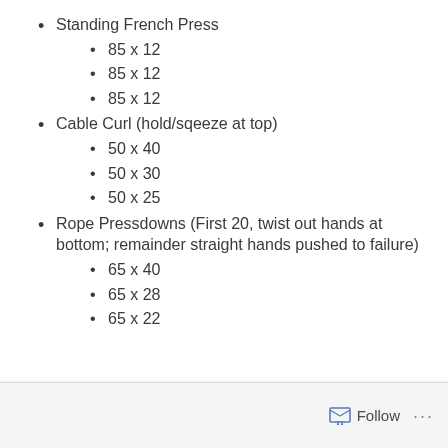Standing French Press
85 x 12
85 x 12
85 x 12
Cable Curl (hold/sqeeze at top)
50 x 40
50 x 30
50 x 25
Rope Pressdowns (First 20, twist out hands at bottom; remainder straight hands pushed to failure)
65 x 40
65 x 28
65 x 22
Follow ...